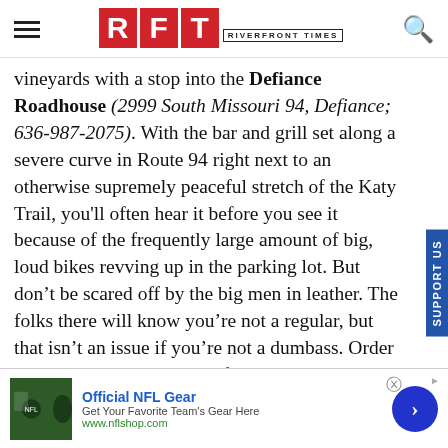RFT RIVERFRONT TIMES
vineyards with a stop into the Defiance Roadhouse (2999 South Missouri 94, Defiance; 636-987-2075). With the bar and grill set along a severe curve in Route 94 right next to an otherwise supremely peaceful stretch of the Katy Trail, you'll often hear it before you see it because of the frequently large amount of big, loud bikes revving up in the parking lot. But don't be scared off by the big men in leather. The folks there will know you're not a regular, but that isn't an issue if you're not a dumbass. Order a whiskey and order some food (it's pretty good).
[Figure (infographic): Advertisement banner for Official NFL Gear from nflshop.com with NFL jersey image, arrow button, and close button]